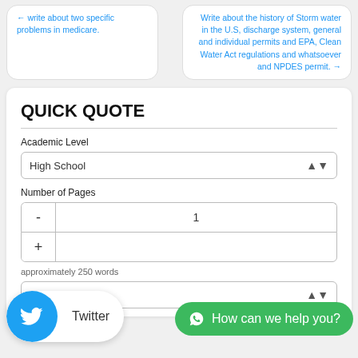← write about two specific problems in medicare.
Write about the history of Storm water in the U.S, discharge system, general and individual permits and EPA, Clean Water Act regulations and whatsoever and NPDES permit. →
QUICK QUOTE
Academic Level
High School
Number of Pages
1
approximately 250 words
48 Hours
How can we help you?
Twitter